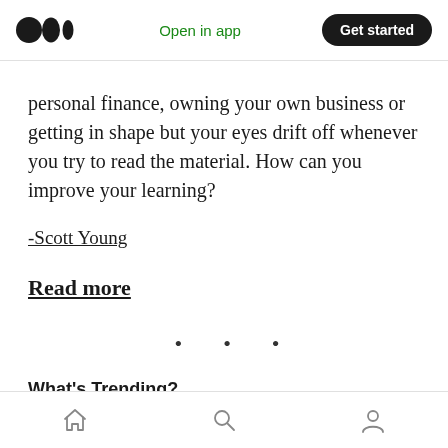Open in app | Get started
personal finance, owning your own business or getting in shape but your eyes drift off whenever you try to read the material. How can you improve your learning?
-Scott Young
Read more
• • •
What's Trending?
Home | Search | Profile